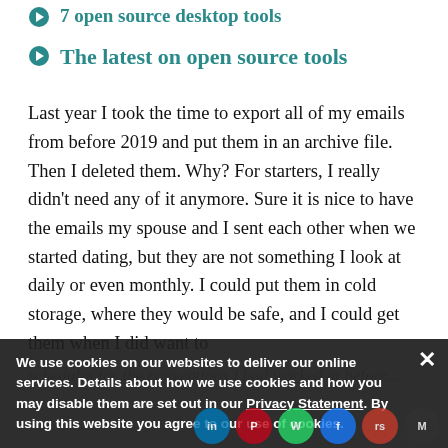7 open source desktop tools
The latest on open source tools
Last year I took the time to export all of my emails from before 2019 and put them in an archive file. Then I deleted them. Why? For starters, I really didn't need any of it anymore. Sure it is nice to have the emails my spouse and I sent each other when we started dating, but they are not something I look at daily or even monthly. I could put them in cold storage, where they would be safe, and I could get them when I did want to
We use cookies on our websites to deliver our online services. Details about how we use cookies and how you may disable them are set out in our Privacy Statement. By using this website you agree to our use of cookies.